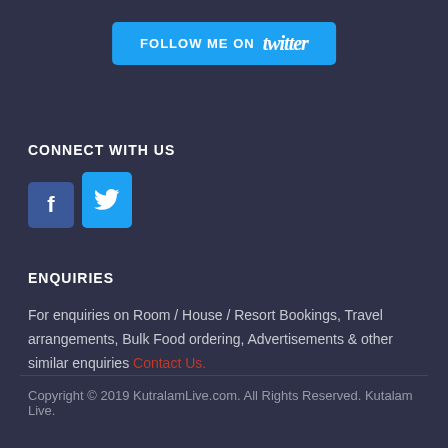[Figure (other): Twitter follow button — cyan/blue rounded rectangle with text 'FOLLOW ME ON twitter']
CONNECT WITH US
[Figure (other): Facebook and Twitter social media icon buttons — blue square with 'f' and cyan square with Twitter bird]
ENQUIRIES
For enquiries on Room / House / Resort Bookings, Travel arrangements, Bulk Food ordering, Advertisements & other similar enquiries Contact Us.
Copyright © 2019 KutralamLive.com. All Rights Reserved. Kutalam Live.